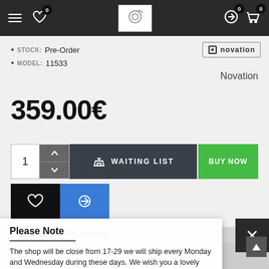Navigation bar with menu, wishlist (0), logo, compare (0), cart (0)
STOCK: Pre-Order
MODEL: 11533
[Figure (logo): Novation brand logo badge]
Novation
359.00€
1 [quantity selector] WAITING LIST | BUY NOW
Wishlist and Compare buttons
MORE FROM THIS BRAND
Please Note
The shop will be close from 17-29 we will ship every Monday and Wednesday during these days. We wish you a lovely summer